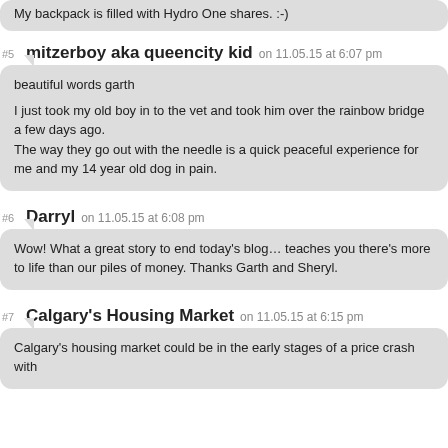My backpack is filled with Hydro One shares. :-)
#5 mitzerboy aka queencity kid on 11.05.15 at 6:07 pm
beautiful words garth

I just took my old boy in to the vet and took him over the rainbow bridge a few days ago.
The way they go out with the needle is a quick peaceful experience for me and my 14 year old dog in pain.
#6 Darryl on 11.05.15 at 6:08 pm
Wow! What a great story to end today's blog… teaches you there's more to life than our piles of money. Thanks Garth and Sheryl.
#7 Calgary's Housing Market on 11.05.15 at 6:15 pm
Calgary's housing market could be in the early stages of a price crash with